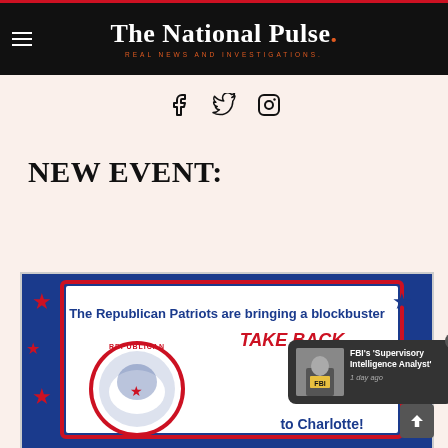The National Pulse. REAL NEWS AND INVESTIGATIONS.
[Figure (infographic): Social media icons: Facebook, Twitter, Instagram]
NEW EVENT:
[Figure (screenshot): Event promo image showing 'The Republican Patriots are bringing a blockbuster TAKE BACK to Charlotte!' with Republican elephant logo, red/white/blue stars design]
[Figure (screenshot): Popup notification showing FBI agent thumbnail with text: FBI's 'Supervisory Intelligence Analyst' - 1 day ago]